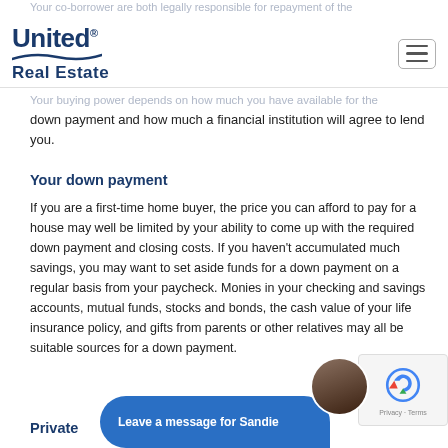Your co-borrower are both legally responsible for repayment of the
[Figure (logo): United Real Estate logo with wave graphic]
Your buying power depends on how much you have available for the down payment and how much a financial institution will agree to lend you.
Your down payment
If you are a first-time home buyer, the price you can afford to pay for a house may well be limited by your ability to come up with the required down payment and closing costs. If you haven't accumulated much savings, you may want to set aside funds for a down payment on a regular basis from your paycheck. Monies in your checking and savings accounts, mutual funds, stocks and bonds, the cash value of your life insurance policy, and gifts from parents or other relatives may all be suitable sources for a down payment.
Private